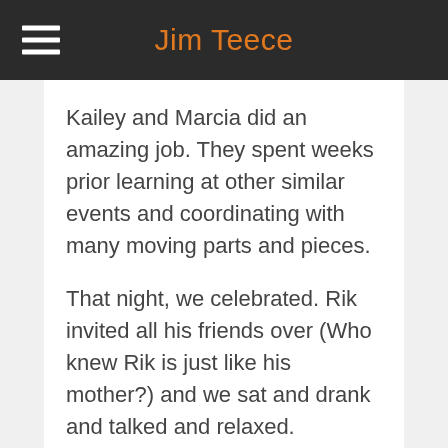Jim Teece
Kailey and Marcia did an amazing job. They spent weeks prior learning at other similar events and coordinating with many moving parts and pieces.
That night, we celebrated. Rik invited all his friends over (Who knew Rik is just like his mother?)  and we sat and drank and talked and relaxed. Exhausted but proud. (earlier in